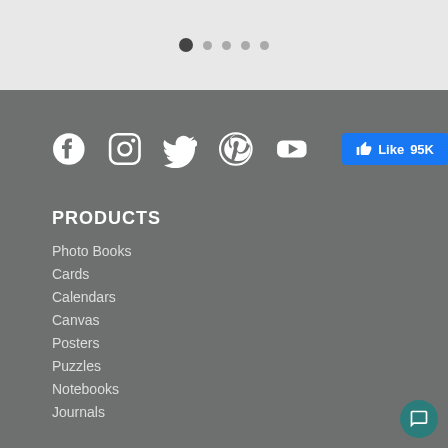[Figure (other): Carousel navigation dots — one filled dark dot (active) and four smaller grey dots]
[Figure (infographic): Social media icons row: Facebook, Instagram, Twitter, Pinterest, YouTube (all white), plus a Facebook Like button showing 95K likes]
PRODUCTS
Photo Books
Cards
Calendars
Canvas
Posters
Puzzles
Notebooks
Journals